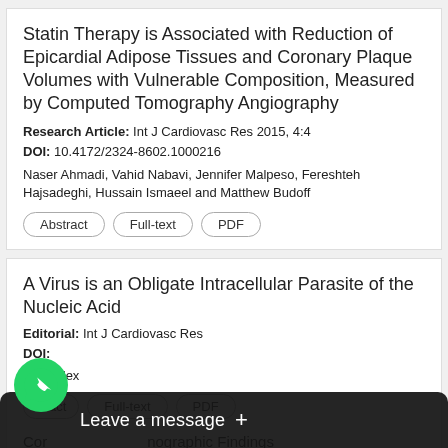Statin Therapy is Associated with Reduction of Epicardial Adipose Tissues and Coronary Plaque Volumes with Vulnerable Composition, Measured by Computed Tomography Angiography
Research Article: Int J Cardiovasc Res 2015, 4:4
DOI: 10.4172/2324-8602.1000216
Naser Ahmadi, Vahid Nabavi, Jennifer Malpeso, Fereshteh Hajsadeghi, Hussain Ismaeel and Matthew Budoff
Abstract
Full-text
PDF
A Virus is an Obligate Intracellular Parasite of the Nucleic Acid
Editorial: Int J Cardiovasc Res
DOI:
John Alex
*tract
Full-text
PDF
Cor nographic Findings and